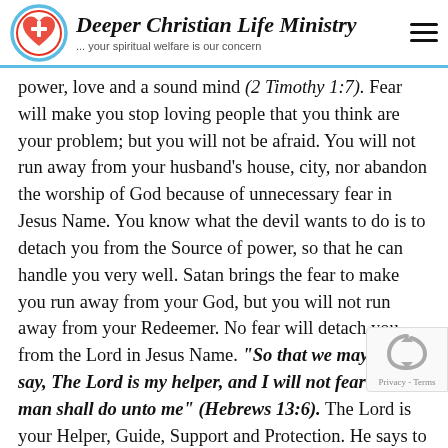Deeper Christian Life Ministry — ... your spiritual welfare is our concern
power, love and a sound mind (2 Timothy 1:7). Fear will make you stop loving people that you think are your problem; but you will not be afraid. You will not run away from your husband's house, city, nor abandon the worship of God because of unnecessary fear in Jesus Name. You know what the devil wants to do is to detach you from the Source of power, so that he can handle you very well. Satan brings the fear to make you run away from your God, but you will not run away from your Redeemer. No fear will detach you from the Lord in Jesus Name. “So that we may boldly say, The Lord is my helper, and I will not fear what man shall do unto me” (Hebrews 13:6). The Lord is your Helper, Guide, Support and Protection. He says to you, It is I, be not afraid. Fear is